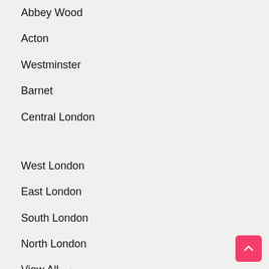Abbey Wood
Acton
Westminster
Barnet
Central London
West London
East London
South London
North London
View All →